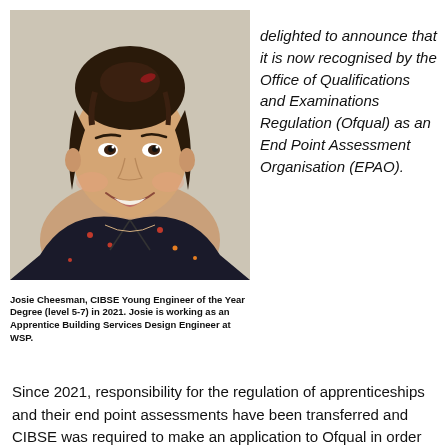[Figure (photo): Portrait photo of Josie Cheesman, a young woman smiling, wearing a dark floral dress, with hair up.]
Josie Cheesman, CIBSE Young Engineer of the Year Degree (level 5-7) in 2021. Josie is working as an Apprentice Building Services Design Engineer at WSP.
delighted to announce that it is now recognised by the Office of Qualifications and Examinations Regulation (Ofqual) as an End Point Assessment Organisation (EPAO).
Since 2021, responsibility for the regulation of apprenticeships and their end point assessments have been transferred and CIBSE was required to make an application to Ofqual in order to assess the Level 3